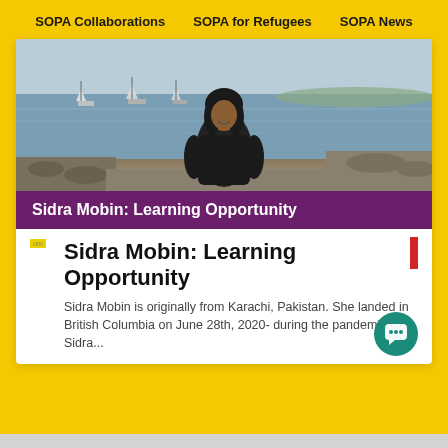SOPA Collaborations   SOPA for Refugees   SOPA News
[Figure (photo): Woman standing in front of a harbor with sailboats and water, wearing a dark winter jacket, smiling at camera.]
Sidra Mobin: Learning Opportunity
Sidra Mobin: Learning Opportunity
Sidra Mobin is originally from Karachi, Pakistan. She landed in British Columbia on June 28th, 2020- during the pandemic. Sidra...